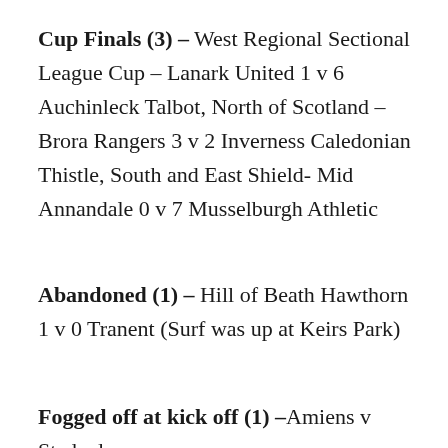Cup Finals (3) – West Regional Sectional League Cup – Lanark United 1 v 6 Auchinleck Talbot, North of Scotland – Brora Rangers 3 v 2 Inverness Caledonian Thistle, South and East Shield- Mid Annandale 0 v 7 Musselburgh Athletic
Abandoned (1) – Hill of Beath Hawthorn 1 v 0 Tranent (Surf was up at Keirs Park)
Fogged off at kick off (1) –Amiens v Stade de